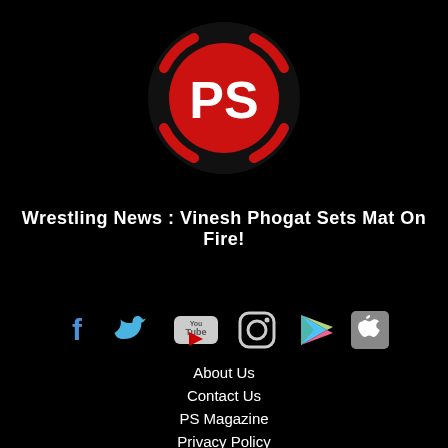[Figure (logo): PS logo: red circle with black PS letters, surrounded by black ring with red arc brackets on the sides]
Wrestling News : Vinesh Phogat Sets Mat On Fire!
[Figure (infographic): Red horizontal divider line]
[Figure (infographic): Social media icons row: Facebook, Twitter, YouTube, Instagram, Google Play, Apple]
About Us
Contact Us
PS Magazine
Privacy Policy